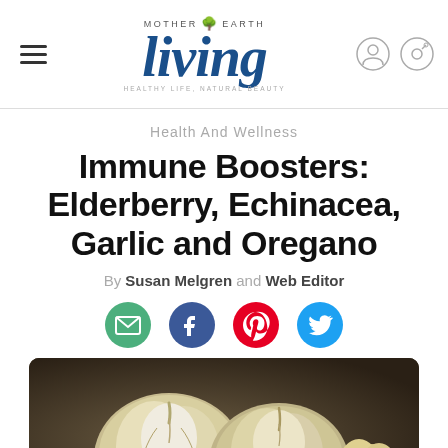Mother Earth Living — Healthy Life, Natural Beauty
Health And Wellness
Immune Boosters: Elderberry, Echinacea, Garlic and Oregano
By Susan Melgren and Web Editor
[Figure (other): Social sharing icons: email (green), Facebook (blue), Pinterest (red), Twitter (blue)]
[Figure (photo): Close-up photo of garlic bulbs and cloves on a dark background]